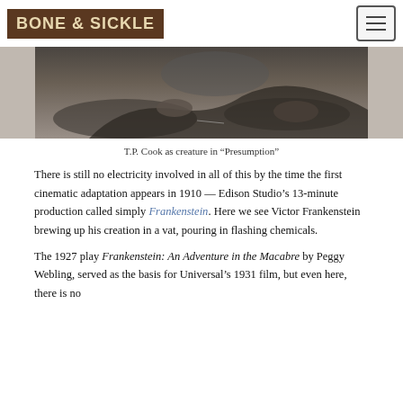BONE & SICKLE
[Figure (photo): Black and white image of T.P. Cook as creature in 'Presumption', showing a dramatic scene with figures on the ground]
T.P. Cook as creature in “Presumption”
There is still no electricity involved in all of this by the time the first cinematic adaptation appears in 1910 — Edison Studio’s 13-minute production called simply Frankenstein. Here we see Victor Frankenstein brewing up his creation in a vat, pouring in flashing chemicals.
The 1927 play Frankenstein: An Adventure in the Macabre by Peggy Webling, served as the basis for Universal’s 1931 film, but even here, there is no